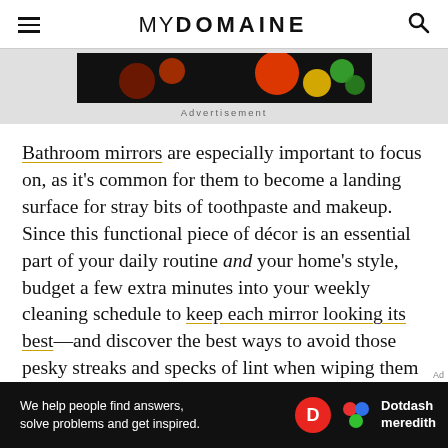MYDOMAINE
[Figure (other): Advertisement banner image with colorful circles on black background]
Advertisement
Bathroom mirrors are especially important to focus on, as it's common for them to become a landing surface for stray bits of toothpaste and makeup. Since this functional piece of décor is an essential part of your daily routine and your home's style, budget a few extra minutes into your weekly cleaning schedule to keep each mirror looking its best—and discover the best ways to avoid those pesky streaks and specks of lint when wiping them down.
[Figure (other): Dotdash Meredith advertisement banner: 'We help people find answers, solve problems and get inspired.']